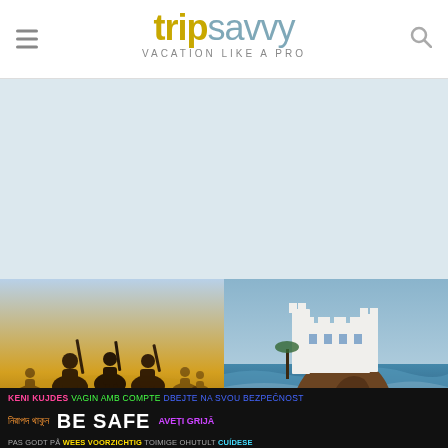tripsavvy VACATION LIKE A PRO
[Figure (other): Light blue advertisement/placeholder banner area]
[Figure (photo): Silhouettes of people on horseback/camels in dusty desert setting at sunset]
[Figure (photo): Coastal castle/fortress on rocky promontory with crashing waves and blue water]
AFRICA & MIDDLE E...
KENI KUJDES VAGIN AMB COMPTE DBEJTE NA SVOU BEZPECNOST নিরাপদ থাকুন BE SAFE AVEȚI GRIJĂ PAS GODT PÅ WEES VOORZICHTIG TOIMIGE OHUTULT CUÍDESE